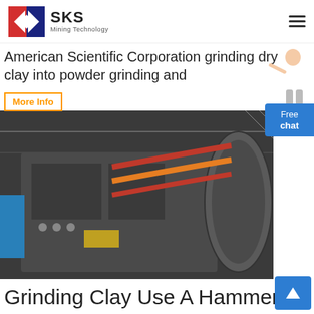[Figure (logo): SKS Mining Technology logo with red and blue shield/arrow graphic and company name]
American Scientific Corporation grinding dry clay into powder grinding and
More Info
[Figure (photo): Industrial mining/grinding machine (hammer mill or ball mill) showing dark grey metal frame with red/orange drive belts and large drum, photographed in industrial setting]
Free chat
Grinding Clay Use A Hammer